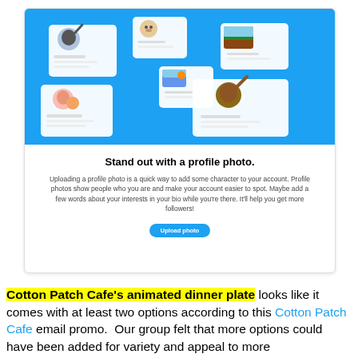[Figure (screenshot): A Twitter/social media email prompt showing profile cards floating on a blue background, with title 'Stand out with a profile photo.', descriptive text about uploading a profile photo, and an 'Upload photo' button.]
Cotton Patch Cafe's animated dinner plate looks like it comes with at least two options according to this Cotton Patch Cafe email promo.  Our group felt that more options could have been added for variety and appeal to more